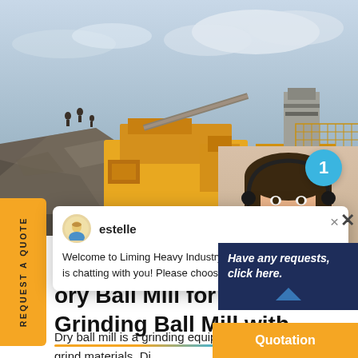[Figure (photo): Mining/quarry site with large yellow heavy industrial machinery (crusher/mill equipment) on rocky terrain, workers visible on rocks in background, cloudy sky]
REQUEST A QUOTE
[Figure (screenshot): Chat popup overlay from Liming Heavy Industry website. Avatar of support agent named 'estelle'. Message: 'Welcome to Liming Heavy Industry! Now our on-line service is chatting with you! Please choose the language :'. Close button (x) visible.]
ory Ball Mill for Sale | Bu Grinding Ball Mill with,
Dry ball mill is a grinding equipment milling process to grind materials. Di
[Figure (photo): Customer service representative woman wearing headset, smiling, with blue notification badge showing '1']
Have any requests, click here.
Quotation